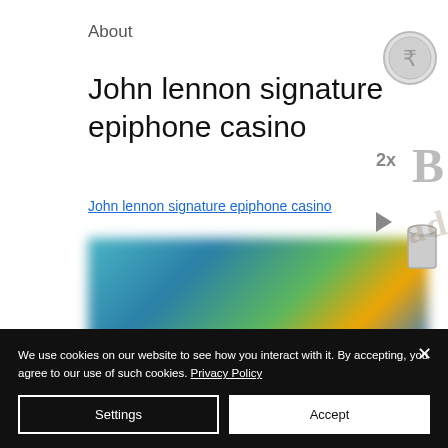About
John lennon signature epiphone casino
John lennon signature epiphone casino
[Figure (photo): Blurred image of people, appears to be a gaming or casino-related scene with teal and green background]
[Figure (illustration): Coin icon with rupee symbol at top right]
2x
B
[Figure (illustration): Play/arrow button icon on right side]
[Figure (illustration): Bucket/cylinder icon on right side]
We use cookies on our website to see how you interact with it. By accepting, you agree to our use of such cookies. Privacy Policy
Settings
Accept